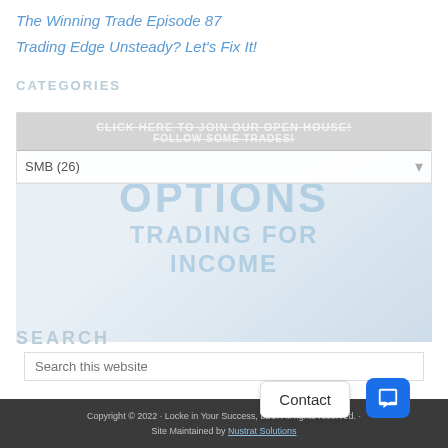The Winning Trade Episode 87
Trading Edge Unsteady? Let's Fix It!
CATEGORIES
CLICK HERE TO JOIN OUR OPEN HOUSE!
FOLLOW SOME TRADES!
SMB (26)
SEARCH
Search this website
[Figure (other): Faded advertisement image with text: OPTIONS TRADING FOR INCOME overlaid in large light-blue letters]
Copyright © 2022 · Locke in Your Success, LLC. All rights reserved. · Site Maintained by Nustrat Solutions